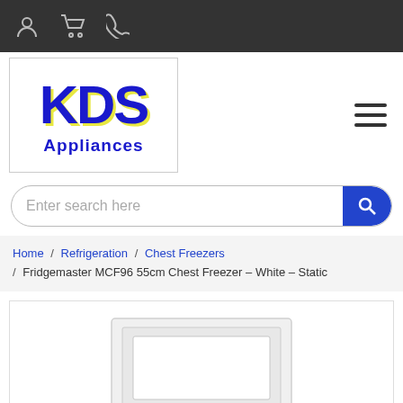KDS Appliances website header with navigation icons (user, cart, phone)
[Figure (logo): KDS Appliances logo — large blue KDS text with yellow shadow, Appliances in blue below]
Enter search here
Home / Refrigeration / Chest Freezers / Fridgemaster MCF96 55cm Chest Freezer – White – Static
[Figure (photo): Product photo of Fridgemaster MCF96 55cm Chest Freezer – White, showing the top lid view of a white chest freezer]